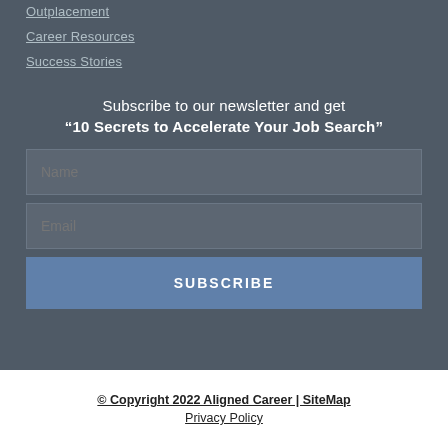Outplacement
Career Resources
Success Stories
Subscribe to our newsletter and get
“10 Secrets to Accelerate Your Job Search”
Name
Email
SUBSCRIBE
© Copyright 2022 Aligned Career | SiteMap
Privacy Policy